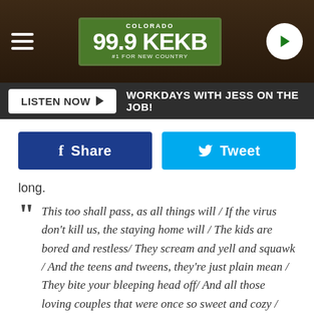[Figure (screenshot): 99.9 KEKB Colorado radio station logo on wooden background header with hamburger menu and play button]
LISTEN NOW ▶   WORKDAYS WITH JESS ON THE JOB!
Share   Tweet
long.
This too shall pass, as all things will / If the virus don't kill us, the staying home will / The kids are bored and restless/ They scream and yell and squawk / And the teens and tweens, they're just plain mean / They bite your bleeping head off/ And all those loving couples that were once so sweet and cozy / Now they fight like cats and dogs, like Donald and Pelosi / Lord, get us back to school and get us back to work / And get us out of this dadblame house before someone gets hurt / And